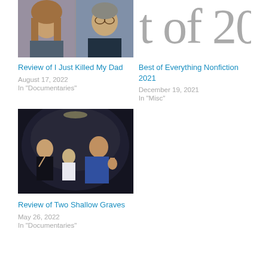[Figure (photo): Two mugshot-style photos of men side by side]
[Figure (other): Partial large text reading 't of 20' in gray serif font, cropped]
Review of I Just Killed My Dad
August 17, 2022
In "Documentaries"
Best of Everything Nonfiction 2021
December 19, 2021
In "Misc"
[Figure (photo): Family photo inside a car trunk/back of vehicle, woman and child and man with thumbs up]
Review of Two Shallow Graves
May 26, 2022
In "Documentaries"